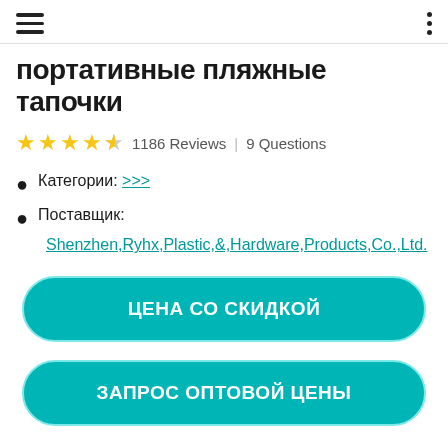[hamburger menu icon] [three-dot menu icon]
портативные пляжные тапочки
★★★★☆ 1186 Reviews | 9 Questions
Категории: >>>
Поставщик:
Shenzhen,Ryhx,Plastic,&,Hardware,Products,Co.,Ltd.
ЦЕНА СО СКИДКОЙ
ЗАПРОС ОПТОВОЙ ЦЕНЫ